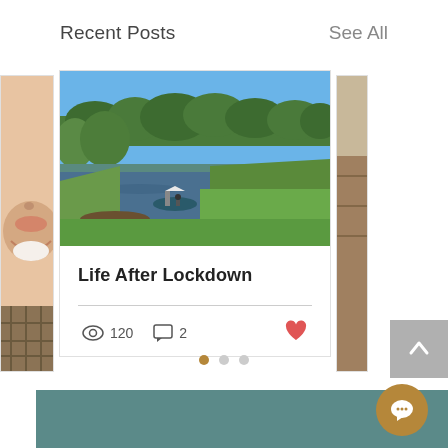Recent Posts
See All
[Figure (photo): Partial view of a person's smiling face on the left side (cropped card)]
[Figure (photo): Outdoor landscape photo showing a river or lake with a small boat, green lawn, and trees under a blue sky]
Life After Lockdown
120 views, 2 comments, heart/like button
[Figure (photo): Partial view of a person in a brown/tan jacket on the right side (cropped card)]
Pagination dots: 3 dots, first active
[Figure (other): Teal/dark green bottom banner strip]
[Figure (other): Golden/brown circular chat button with speech bubble icon]